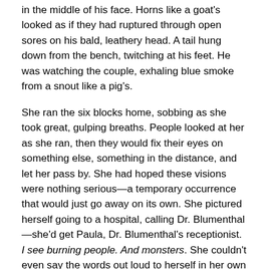in the middle of his face. Horns like a goat's looked as if they had ruptured through open sores on his bald, leathery head. A tail hung down from the bench, twitching at his feet. He was watching the couple, exhaling blue smoke from a snout like a pig's.
She ran the six blocks home, sobbing as she took great, gulping breaths. People looked at her as she ran, then they would fix their eyes on something else, something in the distance, and let her pass by. She had hoped these visions were nothing serious—a temporary occurrence that would just go away on its own. She pictured herself going to a hospital, calling Dr. Blumenthal—she'd get Paula, Dr. Blumenthal's receptionist. I see burning people. And monsters. She couldn't even say the words out loud to herself in her own apartment.